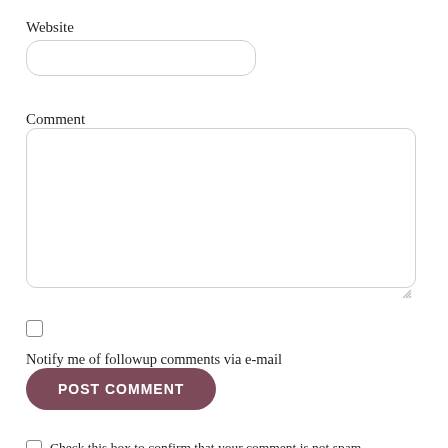Website
[Figure (screenshot): Empty text input field for Website URL, with rounded border]
Comment
[Figure (screenshot): Large empty textarea for comment input, with rounded border and resize handle]
[Figure (screenshot): Unchecked checkbox]
Notify me of followup comments via e-mail
[Figure (screenshot): POST COMMENT button with dark rose/mauve rounded background]
[Figure (screenshot): Unchecked checkbox followed by text: Check this box to confirm that your comment is not spam.]